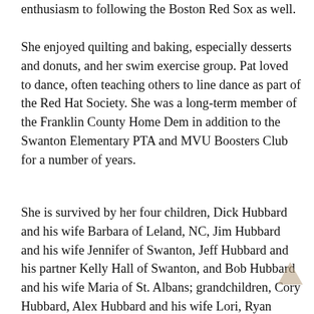enthusiasm to following the Boston Red Sox as well.
She enjoyed quilting and baking, especially desserts and donuts, and her swim exercise group. Pat loved to dance, often teaching others to line dance as part of the Red Hat Society. She was a long-term member of the Franklin County Home Dem in addition to the Swanton Elementary PTA and MVU Boosters Club for a number of years.
She is survived by her four children, Dick Hubbard and his wife Barbara of Leland, NC, Jim Hubbard and his wife Jennifer of Swanton, Jeff Hubbard and his partner Kelly Hall of Swanton, and Bob Hubbard and his wife Maria of St. Albans; grandchildren, Cory Hubbard, Alex Hubbard and his wife Lori, Ryan Hubbard and his wife Morgan, Joie Hatin and her husband Chris, Jack Hubbard and his wife Danielle, Jake Hubbard, Rachel Berthiaume and her husband Erik, Tori Hubbard and her fiancé Justin Ward, Derek Hoald and his wife Ashley, Ryan Hoald and his